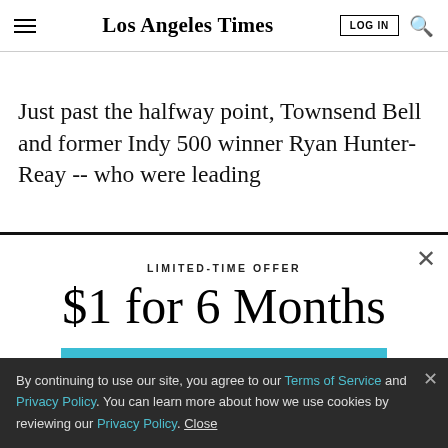Los Angeles Times
Just past the halfway point, Townsend Bell and former Indy 500 winner Ryan Hunter-Reay -- who were leading
LIMITED-TIME OFFER
$1 for 6 Months
SUBSCRIBE NOW
By continuing to use our site, you agree to our Terms of Service and Privacy Policy. You can learn more about how we use cookies by reviewing our Privacy Policy. Close